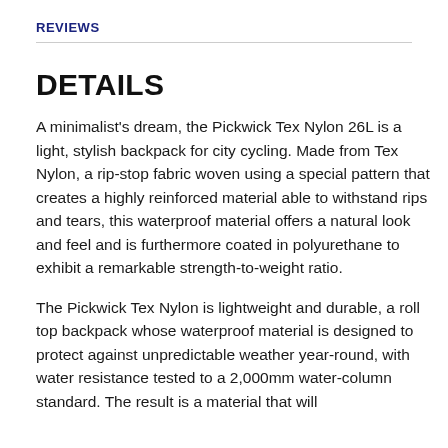REVIEWS
DETAILS
A minimalist's dream, the Pickwick Tex Nylon 26L is a light, stylish backpack for city cycling. Made from Tex Nylon, a rip-stop fabric woven using a special pattern that creates a highly reinforced material able to withstand rips and tears, this waterproof material offers a natural look and feel and is furthermore coated in polyurethane to exhibit a remarkable strength-to-weight ratio.
The Pickwick Tex Nylon is lightweight and durable, a roll top backpack whose waterproof material is designed to protect against unpredictable weather year-round, with water resistance tested to a 2,000mm water-column standard. The result is a material that will